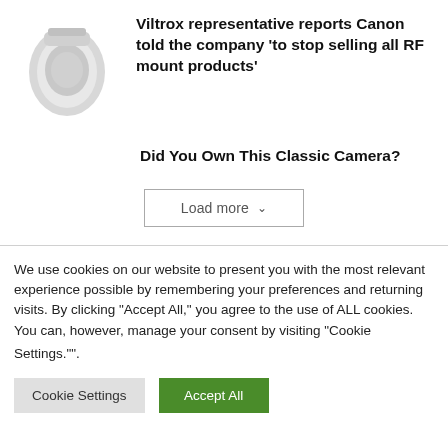[Figure (photo): Gray camera lens on white background]
Viltrox representative reports Canon told the company 'to stop selling all RF mount products'
Did You Own This Classic Camera?
Load more
We use cookies on our website to present you with the most relevant experience possible by remembering your preferences and returning visits. By clicking "Accept All," you agree to the use of ALL cookies. You can, however, manage your consent by visiting "Cookie Settings."".
Cookie Settings
Accept All